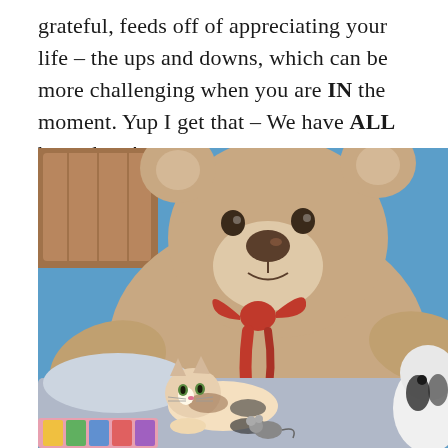grateful, feeds off of appreciating your life – the ups and downs, which can be more challenging when you are IN the moment. Yup I get that – We have ALL been there!
[Figure (photo): A large stuffed teddy bear with a red ribbon bow sitting on a bed, with a small calico cat lying beneath it among other stuffed animals. Blue wall in background.]